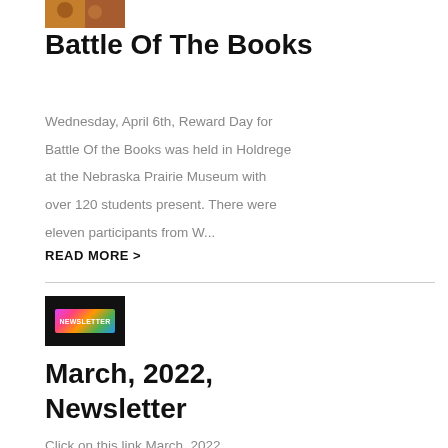[Figure (photo): Small thumbnail image of people, partially cropped at top of page]
Battle Of The Books
Wednesday, April 6th, Reward Day for Battle Of the Books was held in Holdrege at the Nebraska Prairie Museum with over 120 students present. There were eleven participants from W...
READ MORE >
[Figure (logo): Newsletter badge/logo: colorful text reading NEWSLETTER on black background]
March, 2022, Newsletter
Click on this link March, 2022,